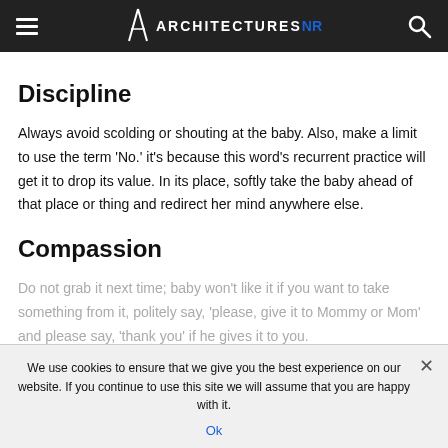Architectures NR (logo/navigation header)
Discipline
Always avoid scolding or shouting at the baby. Also, make a limit to use the term 'No.' it's because this word's recurrent practice will get it to drop its value. In its place, softly take the baby ahead of that place or thing and redirect her mind anywhere else.
Compassion
Do not grab it next time; baby won't like it if you want to take something from it, politely say, 'please, give it to Mommy or Mom' and please say, 'thank you' if he gives it to you.
If children...